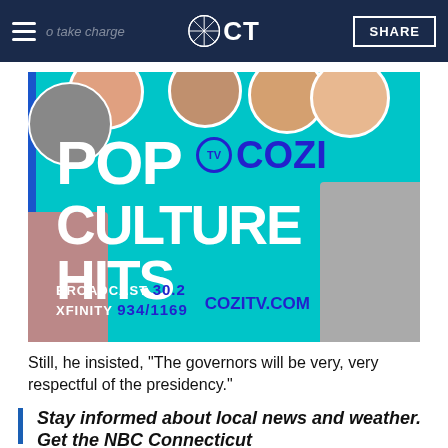NBC CT — SHARE
[Figure (photo): Cozi TV advertisement showing 'POP COZI TV CULTURE HITS' with BROADCAST 30.2, XFINITY 934/1169, COZITV.COM on a teal background with various TV show characters' faces around the edges.]
Still, he insisted, "The governors will be very, very respectful of the presidency."
Stay informed about local news and weather. Get the NBC Connecticut